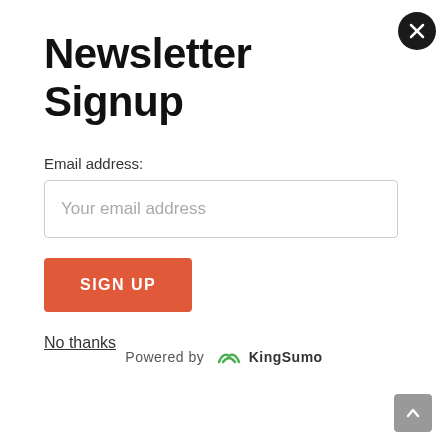Newsletter Signup
Email address:
Your email address
SIGN UP
No thanks
Powered by KingSumo